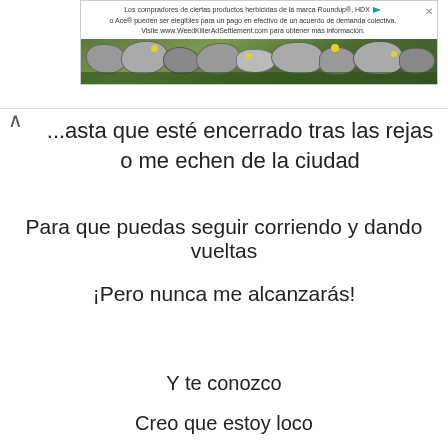[Figure (other): Advertisement banner for Roundup/HDX/Ace herbicide class action settlement with text in Spanish and a photo of stones with yellow flowers and grass.]
...asta que esté encerrado tras las rejas o me echen de la ciudad
Para que puedas seguir corriendo y dando vueltas
¡Pero nunca me alcanzarás!
Y te conozco
Creo que estoy loco